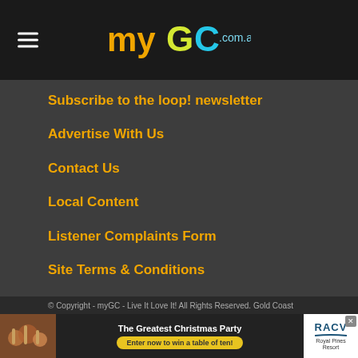myGC.com.au
Subscribe to the loop! newsletter
Advertise With Us
Contact Us
Local Content
Listener Complaints Form
Site Terms & Conditions
Privacy Statement
© Copyright - myGC - Live It Love It! All Rights Reserved. Gold Coast
[Figure (infographic): Advertisement banner for RACV Royal Pines Resort: The Greatest Christmas Party - Enter now to win a table of ten!]